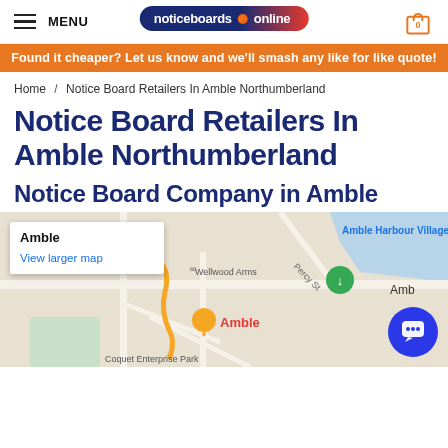MENU | noticeboards online | 0
Found it cheaper? Let us know and we'll smash any like for like quote!
Home / Notice Board Retailers In Amble Northumberland
Notice Board Retailers In Amble Northumberland
Notice Board Company in Amble
[Figure (map): Google Map showing Amble area with popup label 'Amble' and 'View larger map' link, showing Amble Harbour Village, Wellwood Arms, Percy St, Coquet Enterprise Park, with location pin marker]